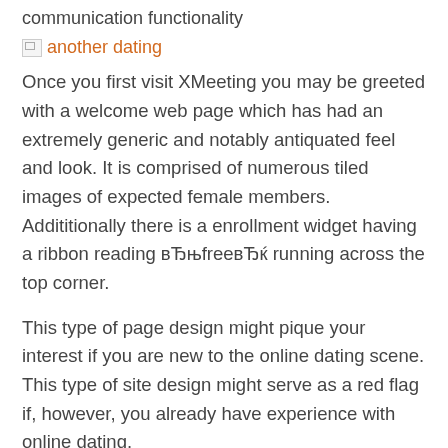communication functionality
[Figure (other): Broken image placeholder with orange link text reading 'another dating']
Once you first visit XMeeting you may be greeted with a welcome web page which has had an extremely generic and notably antiquated feel and look. It is comprised of numerous tiled images of expected female members. Addititionally there is a enrollment widget having a ribbon reading вЂњfreeвЂќ running across the top corner.
This type of page design might pique your interest if you are new to the online dating scene. This type of site design might serve as a red flag if, however, you already have experience with online dating.